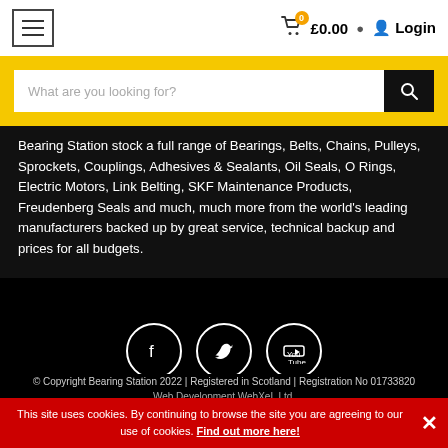☰  £0.00  Login
[Figure (screenshot): Search bar with yellow background and text input 'What are you looking for?']
Bearing Station stock a full range of Bearings, Belts, Chains, Pulleys, Sprockets, Couplings, Adhesives & Sealants, Oil Seals, O Rings, Electric Motors, Link Belting, SKF Maintenance Products, Freudenberg Seals and much, much more from the world's leading manufacturers backed up by great service, technical backup and prices for all budgets.
[Figure (illustration): Social media icons: Facebook, Twitter, YouTube — white circles on black background]
© Copyright Bearing Station 2022 | Registered in Scotland | Registration No 01733820
Web Development WebXeL Ltd.
This site uses cookies. By continuing to browse the site you are agreeing to our use of cookies. Find out more here!